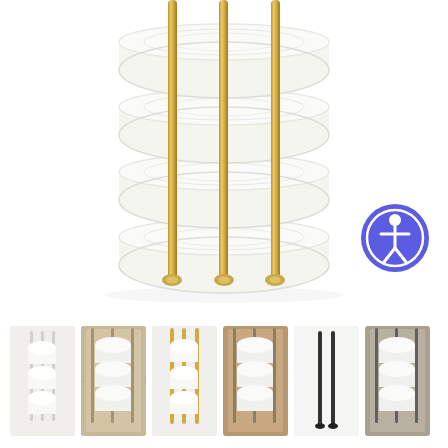[Figure (photo): Main product image: A wall-mounted towel rack with gold/brass vertical bars holding four rolled white towels, displayed on white background. Accessibility icon button visible in lower right corner of image area.]
[Figure (photo): Thumbnail 1: White towel rack with white rolled towels on plain white background]
[Figure (photo): Thumbnail 2: Towel rack with white rolled towels mounted on beige/tan wall]
[Figure (photo): Thumbnail 3: Gold/brass towel rack with white rolled towels on white background]
[Figure (photo): Thumbnail 4: Towel rack with white rolled towels mounted on dark tan/warm wall]
[Figure (photo): Thumbnail 5: Dark/black metal towel rack bars on white background, no towels]
[Figure (photo): Thumbnail 6: Towel rack with white rolled towels on neutral wall, dark hardware]